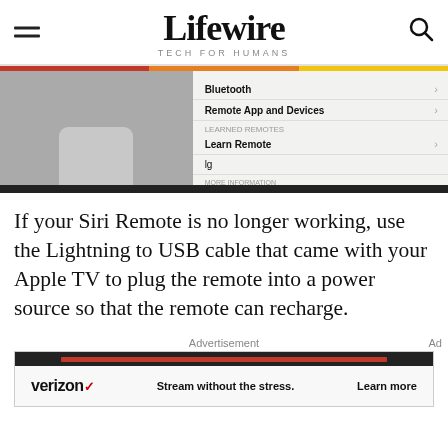Lifewire — TECH FOR HUMANS
[Figure (screenshot): Apple TV settings screen showing Remotes and Devices menu with Bluetooth, Remote App and Devices, Learn Remote (under LEARNED REMOTES section), and lg options listed with chevrons]
If your Siri Remote is no longer working, use the Lightning to USB cable that came with your Apple TV to plug the remote into a power source so that the remote can recharge.
Advertisement
[Figure (screenshot): Verizon advertisement banner reading: verizon — Stream without the stress. Learn more]